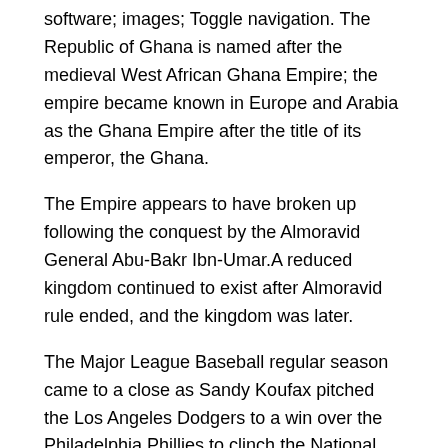software; images; Toggle navigation. The Republic of Ghana is named after the medieval West African Ghana Empire; the empire became known in Europe and Arabia as the Ghana Empire after the title of its emperor, the Ghana.
The Empire appears to have broken up following the conquest by the Almoravid General Abu-Bakr Ibn-Umar.A reduced kingdom continued to exist after Almoravid rule ended, and the kingdom was later.
The Major League Baseball regular season came to a close as Sandy Koufax pitched the Los Angeles Dodgers to a win over the Philadelphia Phillies to clinch the National League pennant and the right to face the Baltimore Orioles in the World Series. In the American League, the perennial pennant-winners, the New York Yankees, finished in last place for the first time since UNWTO in the European Parliament.
The new European Commission has rightly put sustainability and the implementation of the United Nations' Agenda and Sustainable Development Goals at the heart of its strategy for the future. Reports